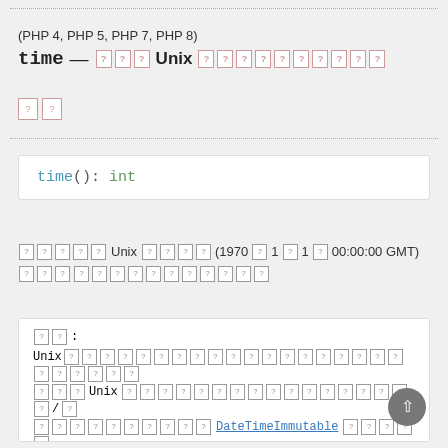(PHP 4, PHP 5, PHP 7, PHP 8)
time — [?][?][?] Unix [?][?][?][?][?][?][?][?][?][?]
[Figure (other): Two unknown character boxes with pink/red border]
[?][?][?][?][?] Unix [?][?][?][?] (1970 [?] 1 [?] 1 [?] 00:00:00 GMT) [?][?][?] [?][?][?][?][?][?][?][?][?][?][?]
[?][?]: Unix[?][?][?][?][?][?][?][?][?] ... Unix[?][?][?][?] ... DateTimeImmutable [?][?][?][?][?] [?][?][?][?][?]